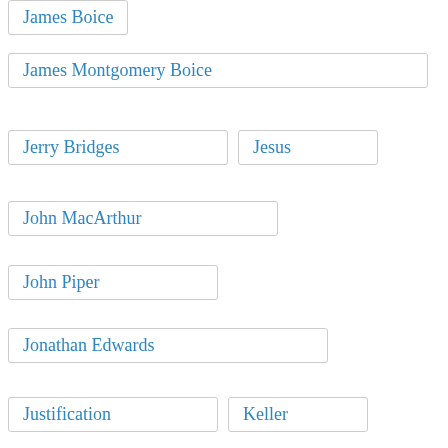James Boice
James Montgomery Boice
Jerry Bridges
Jesus
John MacArthur
John Piper
Jonathan Edwards
Justification
Keller